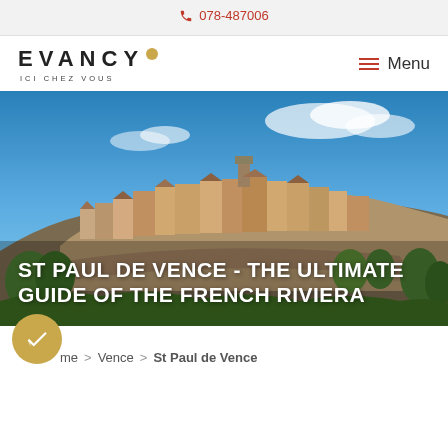📞 078-487006
[Figure (logo): EVANCY ICI CHEZ VOUS logo with gold dot accent and hamburger menu icon with Menu text]
[Figure (photo): Aerial photograph of St Paul de Vence hilltop village in the French Riviera with blue sky]
ST PAUL DE VENCE - THE ULTIMATE GUIDE OF THE FRENCH RIVIERA
Home > Vence > St Paul de Vence